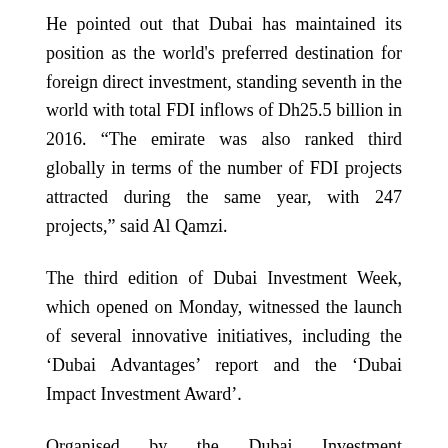He pointed out that Dubai has maintained its position as the world's preferred destination for foreign direct investment, standing seventh in the world with total FDI inflows of Dh25.5 billion in 2016. “The emirate was also ranked third globally in terms of the number of FDI projects attracted during the same year, with 247 projects,” said Al Qamzi.
The third edition of Dubai Investment Week, which opened on Monday, witnessed the launch of several innovative initiatives, including the ‘Dubai Advantages’ report and the ‘Dubai Impact Investment Award’.
Organised by the Dubai Investment Development Agency (Dubai FDI), Dubai Investment Week 2017 seeks to introduce investors to Dubai’s advantages as a strategic